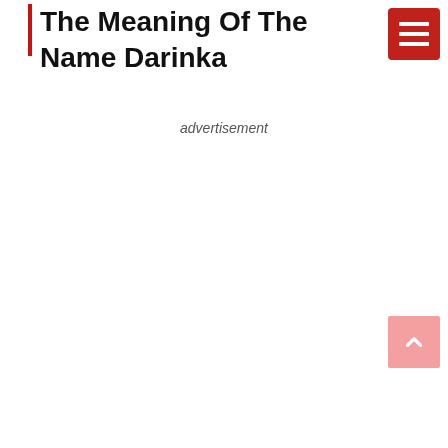The Meaning Of The Name Darinka
advertisement